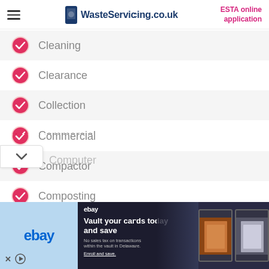WasteServicing.co.uk | ESTA online application
Cleaning
Clearance
Collection
Commercial
Compactor
Composting
Computer
[Figure (screenshot): eBay advertisement banner: 'Vault your cards today and save' with trading card images]